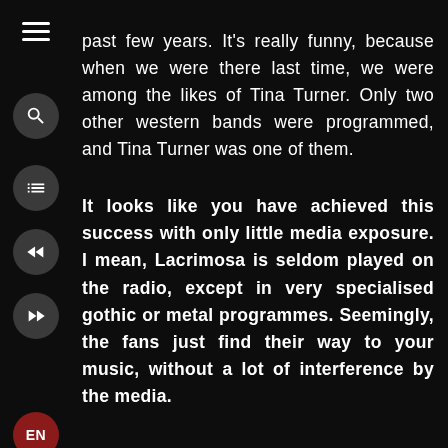past few years. It's really funny, because when we were there last time, we were among the likes of Tina Turner. Only two other western bands were programmed, and Tina Turner was one of them.
It looks like you have achieved this success with only little media exposure. I mean, Lacrimosa is seldom played on the radio, except in very specialised gothic or metal programmes. Seemingly, the fans just find their way to your music, without a lot of interference by the media.